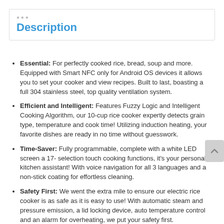Description
Essential: For perfectly cooked rice, bread, soup and more. Equipped with Smart NFC only for Android OS devices it allows you to set your cooker and view recipes. Built to last, boasting a full 304 stainless steel, top quality ventilation system.
Efficient and Intelligent: Features Fuzzy Logic and Intelligent Cooking Algorithm, our 10-cup rice cooker expertly detects grain type, temperature and cook time! Utilizing induction heating, your favorite dishes are ready in no time without guesswork.
Time-Saver: Fully programmable, complete with a white LED screen a 17- selection touch cooking functions, it's your personal kitchen assistant! With voice navigation for all 3 languages and a non-stick coating for effortless cleaning.
Safety First: We went the extra mile to ensure our electric rice cooker is as safe as it is easy to use! With automatic steam and pressure emission, a lid locking device, auto temperature control and an alarm for overheating, we put your safety first.